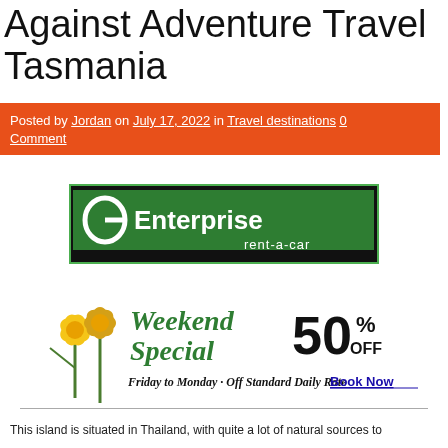Against Adventure Travel Tasmania
Posted by Jordan on July 17, 2022 in Travel destinations 0 Comment
[Figure (logo): Enterprise rent-a-car logo banner — green and black with stylized 'e' icon]
[Figure (infographic): Weekend Special 50% OFF — Friday to Monday - Off Standard Daily Rate. Book Now. Features daffodil flowers on left.]
This island is situated in Thailand, with quite a lot of natural sources to